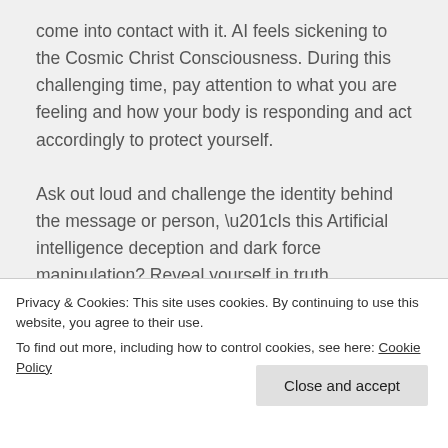come into contact with it. AI feels sickening to the Cosmic Christ Consciousness. During this challenging time, pay attention to what you are feeling and how your body is responding and act accordingly to protect yourself.

Ask out loud and challenge the identity behind the message or person, “Is this Artificial intelligence deception and dark force manipulation? Reveal yourself in truth now.” Command that truth and
Privacy & Cookies: This site uses cookies. By continuing to use this website, you agree to their use.
To find out more, including how to control cookies, see here: Cookie Policy
understand, but you can feel that something is not